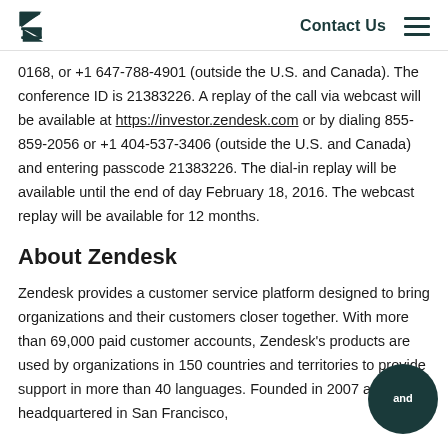Contact Us
0168, or +1 647-788-4901 (outside the U.S. and Canada). The conference ID is 21383226. A replay of the call via webcast will be available at https://investor.zendesk.com or by dialing 855-859-2056 or +1 404-537-3406 (outside the U.S. and Canada) and entering passcode 21383226. The dial-in replay will be available until the end of day February 18, 2016. The webcast replay will be available for 12 months.
About Zendesk
Zendesk provides a customer service platform designed to bring organizations and their customers closer together. With more than 69,000 paid customer accounts, Zendesk's products are used by organizations in 150 countries and territories to provide support in more than 40 languages. Founded in 2007 and headquartered in San Francisco,